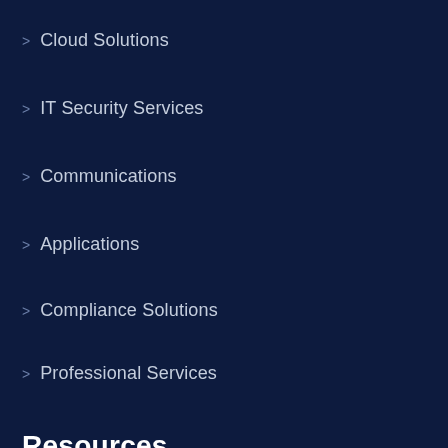> Cloud Solutions
> IT Security Services
> Communications
> Applications
> Compliance Solutions
> Professional Services
Resources
> IT Blog
> Customer Stories